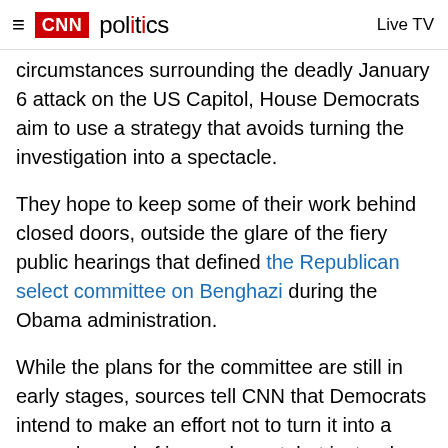CNN politics | Live TV
circumstances surrounding the deadly January 6 attack on the US Capitol, House Democrats aim to use a strategy that avoids turning the investigation into a spectacle.
They hope to keep some of their work behind closed doors, outside the glare of the fiery public hearings that defined the Republican select committee on Benghazi during the Obama administration.
While the plans for the committee are still in early stages, sources tell CNN that Democrats intend to make an effort not to turn it into a second round of impeachment, but instead use it to explore a range of issues that led to the assault on Donald T...